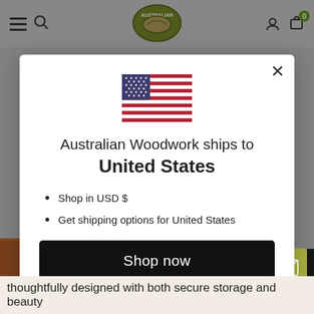[Figure (screenshot): Website navigation bar with hamburger menu, search icon, Australian Woodwork logo, user icon, and cart icon with badge showing 0]
[Figure (other): US flag icon shown in modal dialog]
Australian Woodwork ships to
United States
Shop in USD $
Get shipping options for United States
Shop now
Change shipping country
thoughtfully designed with both secure storage and beauty